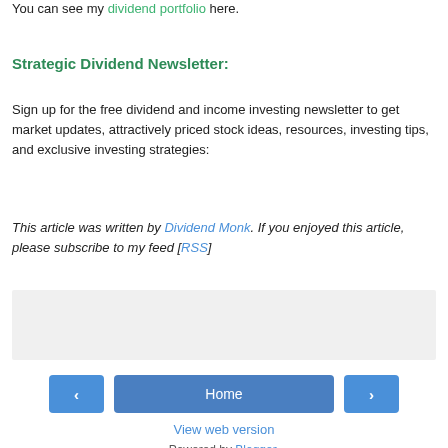You can see my dividend portfolio here.
Strategic Dividend Newsletter:
Sign up for the free dividend and income investing newsletter to get market updates, attractively priced stock ideas, resources, investing tips, and exclusive investing strategies:
This article was written by Dividend Monk. If you enjoyed this article, please subscribe to my feed [RSS]
[Figure (other): Gray placeholder box for newsletter signup form]
Home navigation with previous and next arrows
View web version
Powered by Blogger.